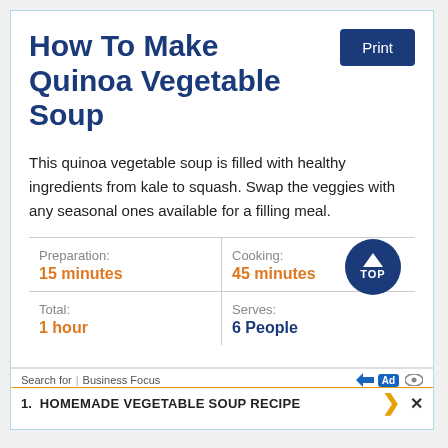How To Make Quinoa Vegetable Soup
This quinoa vegetable soup is filled with healthy ingredients from kale to squash. Swap the veggies with any seasonal ones available for a filling meal.
| Preparation: | Cooking: |
| --- | --- |
| 15 minutes | 45 minutes |
| Total: | Serves: |
| 1 hour | 6 People |
Search for | Business Focus
1. HOMEMADE VEGETABLE SOUP RECIPE